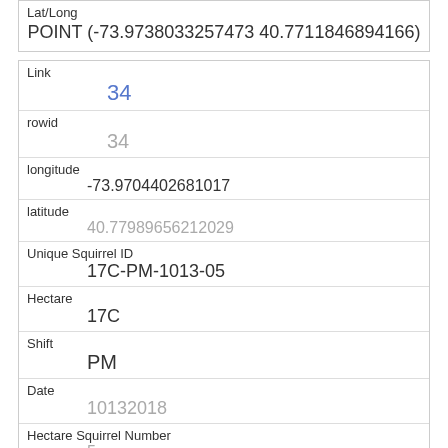| Lat/Long |
| --- |
| POINT (-73.9738033257473 40.7711846894166) |
| Field | Value |
| --- | --- |
| Link | 34 |
| rowid | 34 |
| longitude | -73.9704402681017 |
| latitude | 40.77989656212029 |
| Unique Squirrel ID | 17C-PM-1013-05 |
| Hectare | 17C |
| Shift | PM |
| Date | 10132018 |
| Hectare Squirrel Number | 5 |